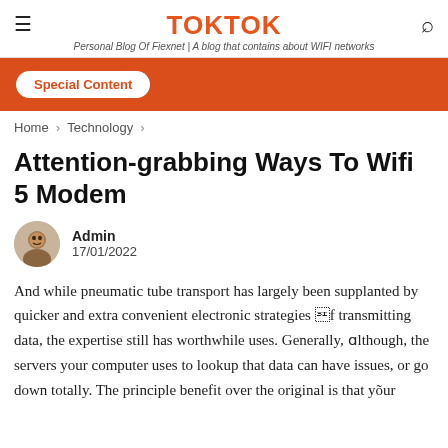TOKTOK — Personal Blog Of Fiexnet | A blog that contains about WIFI networks
[Figure (infographic): Orange banner with Special Content button]
Home › Technology ›
Attention-grabbing Ways To Wifi 5 Modem
Admin
17/01/2022
And while pneumatic tube transport has largely been supplanted by quicker and extra convenient electronic strategies of transmitting data, the expertise still has worthwhile uses. Generally, although, the servers your computer uses to lookup that data can have issues, or go down totally. The principle benefit over the original is that your